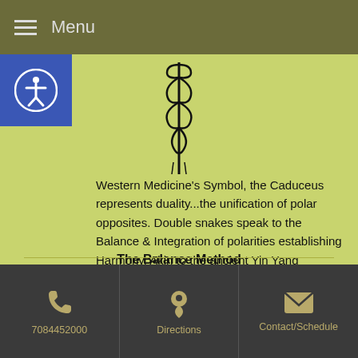Menu
[Figure (illustration): Caduceus symbol — a staff with two intertwined snakes, representing Western Medicine's symbol]
Western Medicine's Symbol, the Caduceus represents duality...the unification of polar opposites. Double snakes speak to the Balance & Integration of polarities establishing Harmony. Akin to the ancient Yin Yang principle in traditional Chinese medicine...
The Balance Method exemplifies this symbol in a practical, highly effective way... Balance ~ Harmony ~ Health
7084452000  Directions  Contact/Schedule